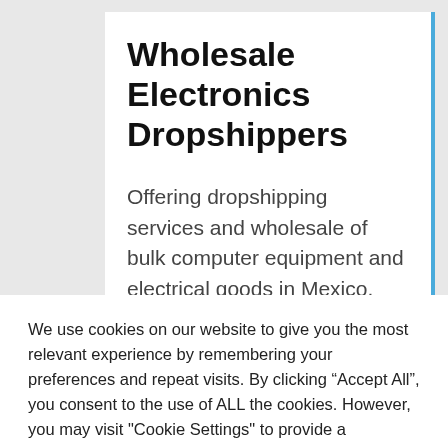Wholesale Electronics Dropshippers
Offering dropshipping services and wholesale of bulk computer equipment and electrical goods in Mexico. USA Computer are
We use cookies on our website to give you the most relevant experience by remembering your preferences and repeat visits. By clicking “Accept All”, you consent to the use of ALL the cookies. However, you may visit "Cookie Settings" to provide a controlled consent.
Cookie Settings | Accept All